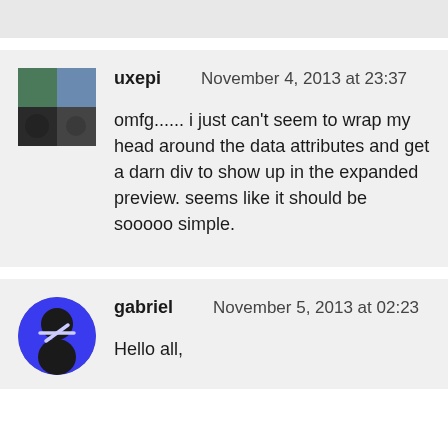uxepi   November 4, 2013 at 23:37

omfg...... i just can't seem to wrap my head around the data attributes and get a darn div to show up in the expanded preview. seems like it should be sooooo simple.
gabriel   November 5, 2013 at 02:23

Hello all,